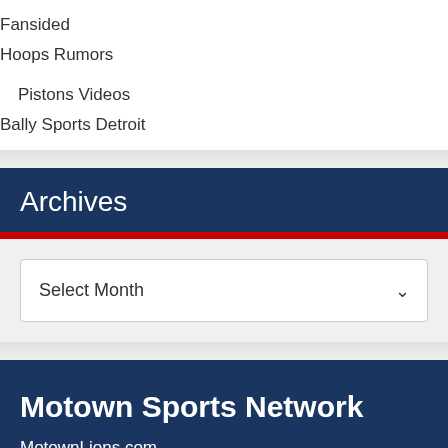Fansided
Hoops Rumors
Pistons Videos
Bally Sports Detroit
Archives
Select Month
Motown Sports Network
MotownLions.com